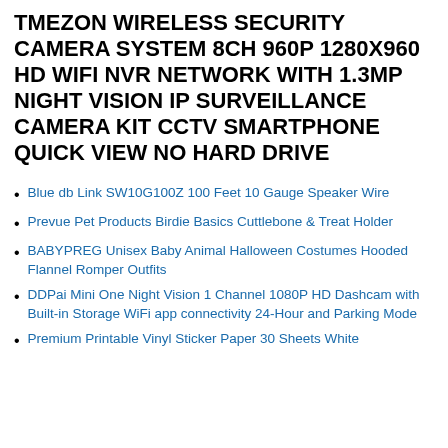TMEZON WIRELESS SECURITY CAMERA SYSTEM 8CH 960P 1280X960 HD WIFI NVR NETWORK WITH 1.3MP NIGHT VISION IP SURVEILLANCE CAMERA KIT CCTV SMARTPHONE QUICK VIEW NO HARD DRIVE
Blue db Link SW10G100Z 100 Feet 10 Gauge Speaker Wire
Prevue Pet Products Birdie Basics Cuttlebone & Treat Holder
BABYPREG Unisex Baby Animal Halloween Costumes Hooded Flannel Romper Outfits
DDPai Mini One Night Vision 1 Channel 1080P HD Dashcam with Built-in Storage WiFi app connectivity 24-Hour and Parking Mode
Premium Printable Vinyl Sticker Paper 30 Sheets White